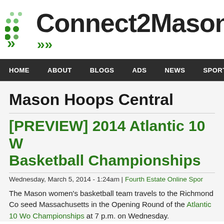[Figure (logo): Connect2Mason logo with green dot matrix pattern on left and bold black text 'Connect2Mason' on right, with green chevron arrows below dots]
HOME | ABOUT | BLOGS | ADS | NEWS | SPORTS | LI
Mason Hoops Central
[PREVIEW] 2014 Atlantic 10 W Basketball Championships
Wednesday, March 5, 2014 - 1:24am | Fourth Estate Online Spor
The Mason women's basketball team travels to the Richmond Co seed Massachusetts in the Opening Round of the Atlantic 10 Wo Championships at 7 p.m. on Wednesday.